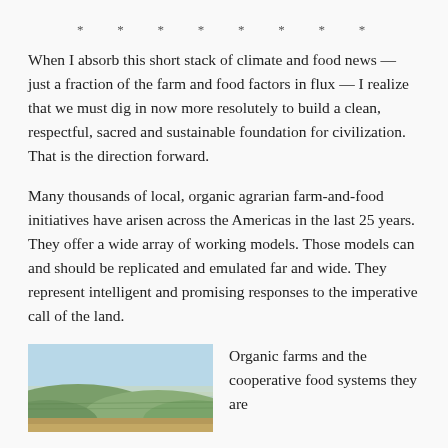* * * * * * * *
When I absorb this short stack of climate and food news — just a fraction of the farm and food factors in flux — I realize that we must dig in now more resolutely to build a clean, respectful, sacred and sustainable foundation for civilization. That is the direction forward.
Many thousands of local, organic agrarian farm-and-food initiatives have arisen across the Americas in the last 25 years. They offer a wide array of working models. Those models can and should be replicated and emulated far and wide. They represent intelligent and promising responses to the imperative call of the land.
[Figure (photo): Aerial or landscape photo showing farmland or countryside with a light blue sky and green fields.]
Organic farms and the cooperative food systems they are